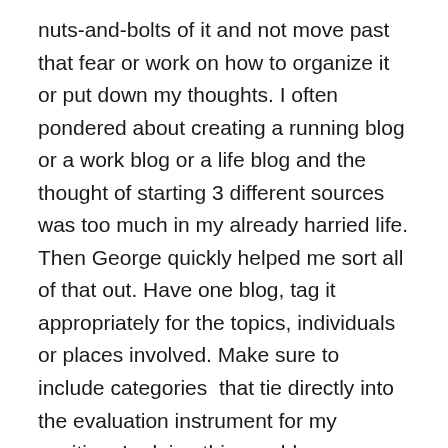nuts-and-bolts of it and not move past that fear or work on how to organize it or put down my thoughts. I often pondered about creating a running blog or a work blog or a life blog and the thought of starting 3 different sources was too much in my already harried life. Then George quickly helped me sort all of that out. Have one blog, tag it appropriately for the topics, individuals or places involved. Make sure to include categories  that tie directly into the evaluation instrument for my position. In doing this, my blog becomes more than just a reflection vessel, but additionally a portfolio, my evidence, and even my resume as a whole person. I then took this further and reflected with my “tribe” or Professional Learning Network following the conference. Listening, talking, reading and then putting words to paper, I have been encouraged by so many to jump in with my exploration of bloating...